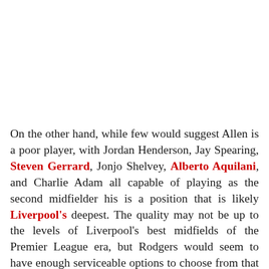On the other hand, while few would suggest Allen is a poor player, with Jordan Henderson, Jay Spearing, Steven Gerrard, Jonjo Shelvey, Alberto Aquilani, and Charlie Adam all capable of playing as the second midfielder his is a position that is likely Liverpool's deepest. The quality may not be up to the levels of Liverpool's best midfields of the Premier League era, but Rodgers would seem to have enough serviceable options to choose from that splashing a significant